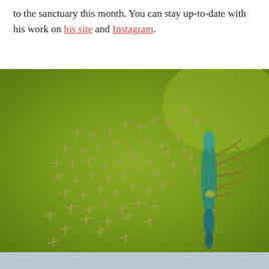to the sanctuary this month. You can stay up-to-date with his work on his site and Instagram.
[Figure (photo): Aerial drone photograph of a large flock of flamingos (appearing as small stick-like forms) on a green algae-covered lake, with a single teal/blue-green flamingo or bird visible on the right side, viewed from directly above.]